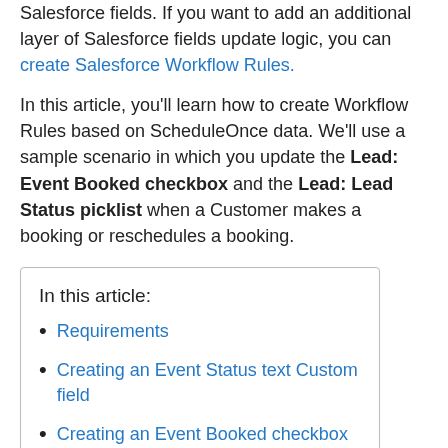Salesforce fields. If you want to add an additional layer of Salesforce fields update logic, you can create Salesforce Workflow Rules.
In this article, you'll learn how to create Workflow Rules based on ScheduleOnce data. We'll use a sample scenario in which you update the Lead: Event Booked checkbox and the Lead: Lead Status picklist when a Customer makes a booking or reschedules a booking.
In this article:
Requirements
Creating an Event Status text Custom field
Creating an Event Booked checkbox Custom field
Mapping the ScheduleOnce Status